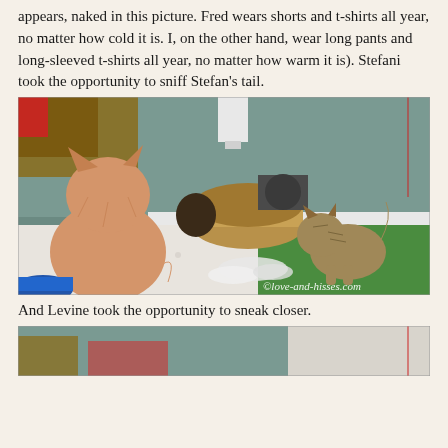appears, naked in this picture. Fred wears shorts and t-shirts all year, no matter how cold it is. I, on the other hand, wear long pants and long-sleeved t-shirts all year, no matter how warm it is). Stefani took the opportunity to sniff Stefan's tail.
[Figure (photo): Two cats in a room — a large orange/cream cat sitting with its back to the camera on the left, and a small tabby kitten approaching from the right on a green mat. A cardboard cat scratcher tunnel is in the middle. There is white fur/fluff on the mat. A watermark reads ©love-and-hisses.com]
And Levine took the opportunity to sneak closer.
[Figure (photo): Partial view of cats in a similar room setting, bottom of page.]